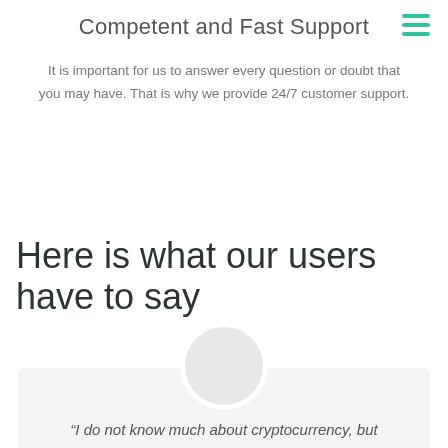Competent and Fast Support
It is important for us to answer every question or doubt that you may have. That is why we provide 24/7 customer support.
Here is what our users have to say
[Figure (illustration): A circular avatar placeholder image above a testimonial card with light grey background]
“I do not know much about cryptocurrency, but